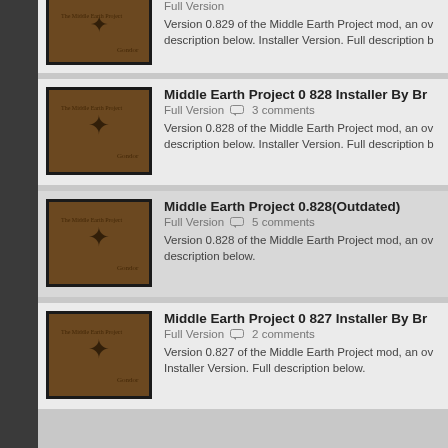[Figure (screenshot): Partial entry at top: Middle Earth Project mod thumbnail with Full Version label and description text cut off at top]
[Figure (screenshot): Middle Earth Project 0 828 Installer By Br... entry with thumbnail, Full Version, 3 comments, description]
[Figure (screenshot): Middle Earth Project 0.828(Outdated) entry with thumbnail, Full Version, 5 comments, description]
[Figure (screenshot): Middle Earth Project 0 827 Installer By Br... entry with thumbnail, Full Version, 2 comments, description]